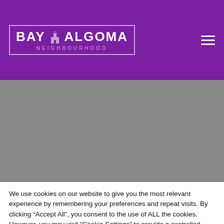[Figure (logo): Bay Algoma Neighbourhood logo — white text in a bordered box on purple background, with a small building/church icon between BAY and ALGOMA, and NEIGHBOURHOOD in smaller spaced letters below]
[Figure (photo): Large gray hero image area (image failed to load or is placeholder gray)]
We use cookies on our website to give you the most relevant experience by remembering your preferences and repeat visits. By clicking “Accept All”, you consent to the use of ALL the cookies. However, you may visit "Cookie Settings" to provide a controlled consent.
Cookie Settings
Accept All